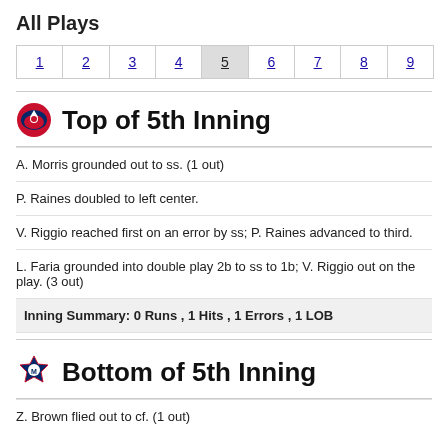All Plays
| 1 | 2 | 3 | 4 | 5 | 6 | 7 | 8 | 9 |
| --- | --- | --- | --- | --- | --- | --- | --- | --- |
Top of 5th Inning
A. Morris grounded out to ss. (1 out)
P. Raines doubled to left center.
V. Riggio reached first on an error by ss; P. Raines advanced to third.
L. Faria grounded into double play 2b to ss to 1b; V. Riggio out on the play. (3 out)
Inning Summary: 0 Runs , 1 Hits , 1 Errors , 1 LOB
Bottom of 5th Inning
Z. Brown flied out to cf. (1 out)